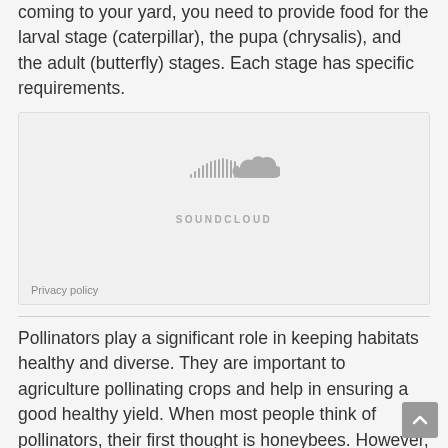coming to your yard, you need to provide food for the larval stage (caterpillar), the pupa (chrysalis), and the adult (butterfly) stages. Each stage has specific requirements.
[Figure (other): SoundCloud embedded audio player placeholder with SoundCloud logo and 'Privacy policy' link at bottom left]
Pollinators play a significant role in keeping habitats healthy and diverse. They are important to agriculture pollinating crops and help in ensuring a good healthy yield. When most people think of pollinators, their first thought is honeybees. However, there are so many more bees than just honey- bees (which are non-